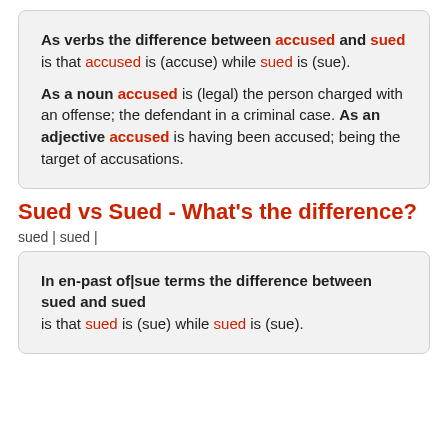As verbs the difference between accused and sued is that accused is (accuse) while sued is (sue). As a noun accused is (legal) the person charged with an offense; the defendant in a criminal case. As an adjective accused is having been accused; being the target of accusations.
Sued vs Sued - What's the difference?
sued | sued |
In en-past of|sue terms the difference between sued and sued is that sued is (sue) while sued is (sue).